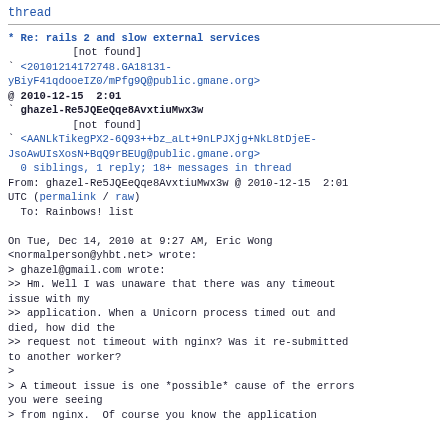thread
* Re: rails 2 and slow external services
        [not found]
` <20101214172748.GA18131-yBiyF41qdooeIZ0/mPfg9Q@public.gmane.org>
@ 2010-12-15  2:01
` ghazel-Re5JQEeQqe8AvxtiuMwx3w
        [not found]
` <AANLkTikegPX2-6Q93++bz_aLt+9nLPJXjg+NkL8tDjeE-JsoAwUIsXosN+BqQ9rBEUg@public.gmane.org>
  0 siblings, 1 reply; 18+ messages in thread
From: ghazel-Re5JQEeQqe8AvxtiuMwx3w @ 2010-12-15  2:01 UTC (permalink / raw)
  To: Rainbows! list

On Tue, Dec 14, 2010 at 9:27 AM, Eric Wong
<normalperson@yhbt.net> wrote:
> ghazel@gmail.com wrote:
>> Hm. Well I was unaware that there was any timeout issue with my
>> application. When a Unicorn process timed out and died, how did the
>> request not timeout with nginx? Was it re-submitted to another worker?
>
> A timeout issue is one *possible* cause of the errors you were seeing
> from nginx.  Of course you know the application